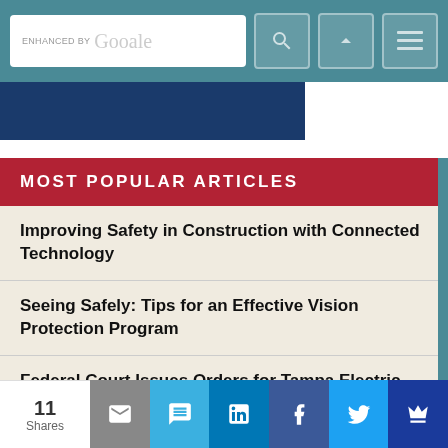[Figure (screenshot): Top navigation bar with Google search box and nav icons on teal background]
MOST POPULAR ARTICLES
Improving Safety in Construction with Connected Technology
Seeing Safely: Tips for an Effective Vision Protection Program
Federal Court Issues Orders for Tampa Electric After Incident Killed Five Workers in 2017
South Carolina Governor Sues OSHA
Workplace Accident Report Shows Statistics of
11 Shares — share buttons: email, SMS, LinkedIn, Facebook, Twitter, crown